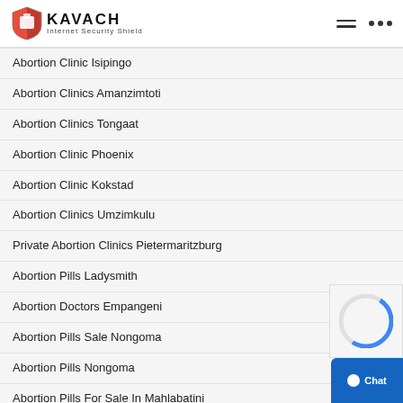KAVACH Internet Security Shield
Abortion Clinic Isipingo
Abortion Clinics Amanzimtoti
Abortion Clinics Tongaat
Abortion Clinic Phoenix
Abortion Clinic Kokstad
Abortion Clinics Umzimkulu
Private Abortion Clinics Pietermaritzburg
Abortion Pills Ladysmith
Abortion Doctors Empangeni
Abortion Pills Sale Nongoma
Abortion Pills Nongoma
Abortion Pills For Sale In Mahlabatini
Abortion Clinics Mahlabatini
Abortion Pills Richards Bay